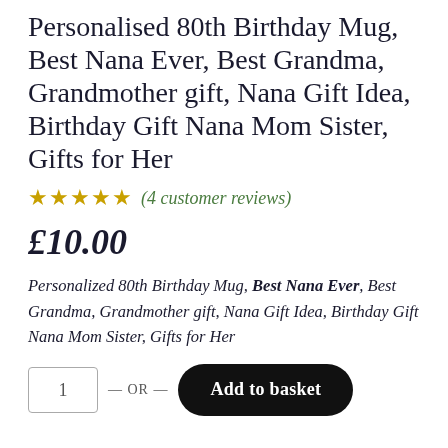Personalised 80th Birthday Mug, Best Nana Ever, Best Grandma, Grandmother gift, Nana Gift Idea, Birthday Gift Nana Mom Sister, Gifts for Her
(4 customer reviews)
£10.00
Personalized 80th Birthday Mug, Best Nana Ever, Best Grandma, Grandmother gift, Nana Gift Idea, Birthday Gift Nana Mom Sister, Gifts for Her
1 — OR — Add to basket